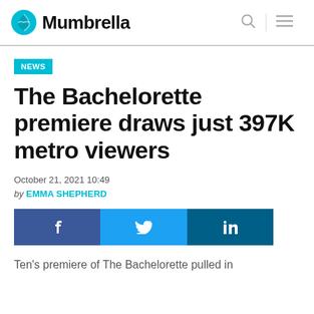Mumbrella
NEWS
The Bachelorette premiere draws just 397K metro viewers
October 21, 2021 10:49
by EMMA SHEPHERD
[Figure (other): Social sharing buttons: Facebook, Twitter, LinkedIn]
Ten’s premiere of The Bachelorette pulled in